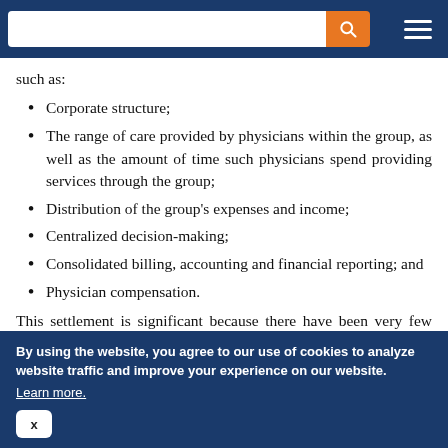[Search bar and navigation]
such as:
Corporate structure;
The range of care provided by physicians within the group, as well as the amount of time such physicians spend providing services through the group;
Distribution of the group’s expenses and income;
Centralized decision-making;
Consolidated billing, accounting and financial reporting; and
Physician compensation.
This settlement is significant because there have been very few enforcement actions or settlement agreements alleging violations of
By using the website, you agree to our use of cookies to analyze website traffic and improve your experience on our website. Learn more.